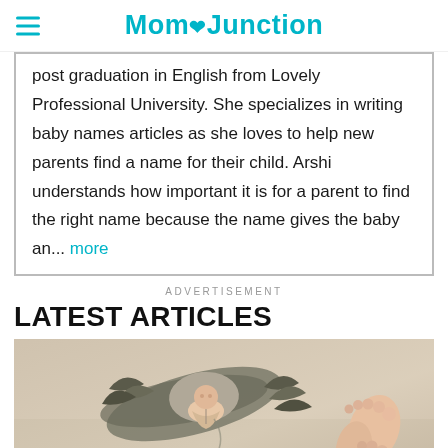MomJunction
post graduation in English from Lovely Professional University. She specializes in writing baby names articles as she loves to help new parents find a name for their child. Arshi understands how important it is for a parent to find the right name because the name gives the baby an... more
ADVERTISEMENT
LATEST ARTICLES
[Figure (photo): Fantasy photo illustration of a stork bird carrying a baby, with a baby's feet/hand visible on the right side of the image. Warm beige/tan background.]